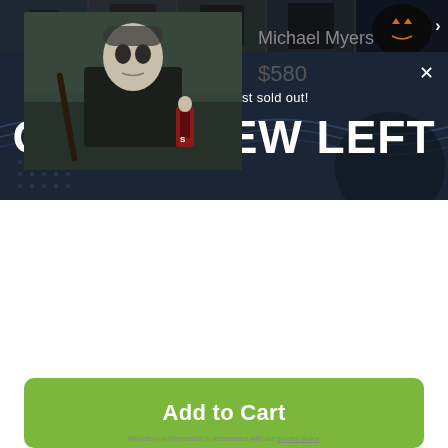[Figure (photo): Strip of Halloween-themed product photos across the top: dark figures, robes, pumpkin with carved face]
This item is almost sold out!
ONLY A FEW LEFT
[Figure (photo): Michael Myers character figure holding a weapon, wearing a white mask and dark coveralls, with a small collectible figure visible in background]
Michael Myers
$580
Add to Cart
We use your information in accordance with our privacy policy.